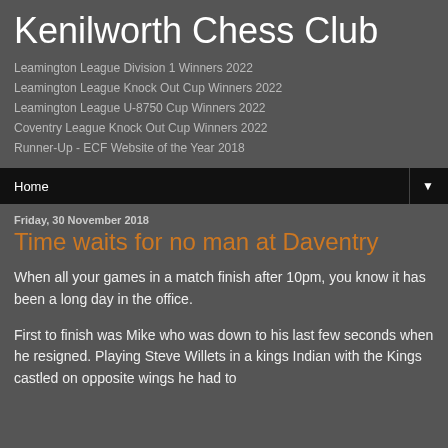Kenilworth Chess Club
Leamington League Division 1 Winners 2022
Leamington League Knock Out Cup Winners 2022
Leamington League U-8750 Cup Winners 2022
Coventry League Knock Out Cup Winners 2022
Runner-Up - ECF Website of the Year 2018
Home ▼
Friday, 30 November 2018
Time waits for no man at Daventry
When all your games in a match finish after 10pm, you know it has been a long day in the office.
First to finish was Mike who was down to his last few seconds when he resigned. Playing Steve Willets in a kings Indian with the Kings castled on opposite wings he had to